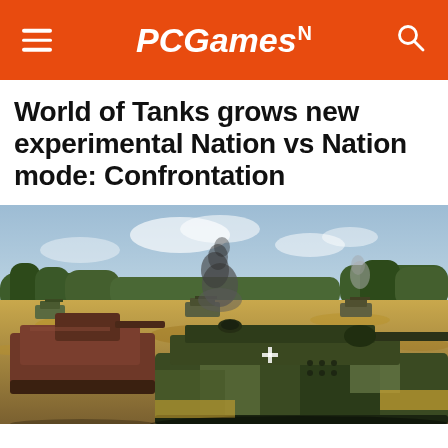PCGamesN
World of Tanks grows new experimental Nation vs Nation mode: Confrontation
[Figure (photo): World of Tanks gameplay screenshot showing German tanks in a battle scene on an open field with smoke, dry grass, and trees in the background. Multiple tanks visible including a large camouflaged tank destroyer in the foreground.]